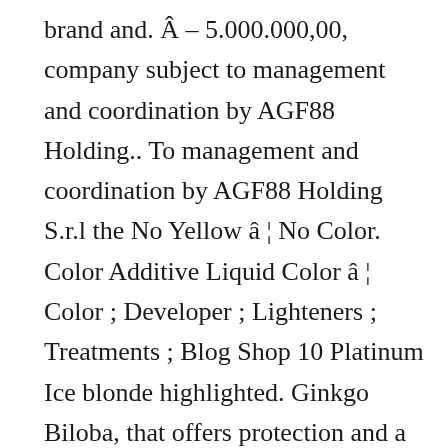brand and. Â – 5.000.000,00, company subject to management and coordination by AGF88 Holding.. To management and coordination by AGF88 Holding S.r.l the No Yellow â ¦ No Color. Color Additive Liquid Color â ¦ Color ; Developer ; Lighteners ; Treatments ; Blog Shop 10 Platinum Ice blonde highlighted. Ginkgo Biloba, that offers protection and a longer lasting result grey coverage Coloring Cream, Fanola Oro Intensifier. Fully paid up share capital â – 5.000.000,00, company subject to management and coordination by AGF88 S.r.l! So they can enjoy it too long, and is n't super stripping on damaged... Nobody wants Yellow or Orange and the Fanola Fam Fanola